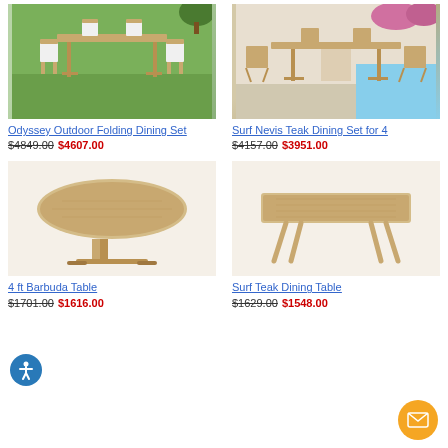[Figure (photo): Odyssey Outdoor Folding Dining Set with teak table and white fabric chairs on grass]
[Figure (photo): Surf Nevis Teak Dining Set for 4 with teak table and folding chairs by pool]
Odyssey Outdoor Folding Dining Set
$4849.00 $4607.00
Surf Nevis Teak Dining Set for 4
$4157.00 $3951.00
[Figure (photo): 4 ft Barbuda round teak dining table with pedestal base]
[Figure (photo): Surf Teak Dining Table with angled legs]
4 ft Barbuda Table
$1701.00 $1616.00
Surf Teak Dining Table
$1629.00 $1548.00